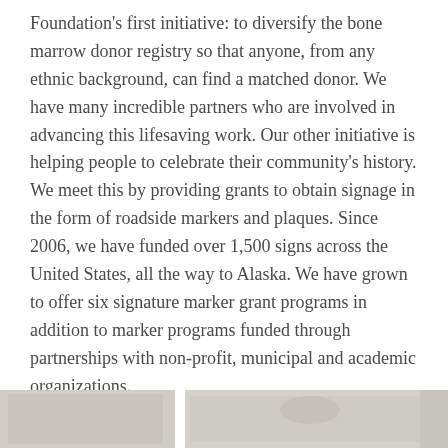Foundation's first initiative: to diversify the bone marrow donor registry so that anyone, from any ethnic background, can find a matched donor. We have many incredible partners who are involved in advancing this lifesaving work. Our other initiative is helping people to celebrate their community's history. We meet this by providing grants to obtain signage in the form of roadside markers and plaques. Since 2006, we have funded over 1,500 signs across the United States, all the way to Alaska. We have grown to offer six signature marker grant programs in addition to marker programs funded through partnerships with non-profit, municipal and academic organizations.
Related posts:
[Figure (photo): Partial view of photos related to the post, cropped at bottom of page]